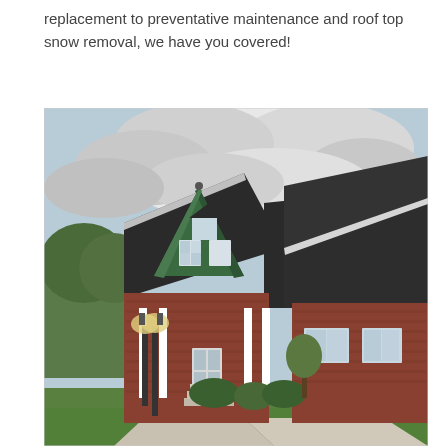replacement to preventative maintenance and roof top snow removal, we have you covered!
[Figure (photo): Exterior photo of a residential/commercial building with a distinctive green metal conical roof on an octagonal turret, dark asphalt shingle roofs on the main structure, brick facade, white trim columns, a front porch with a white door, ornamental street lamp in the foreground, surrounded by landscaped greenery and sidewalk under a partly cloudy sky.]